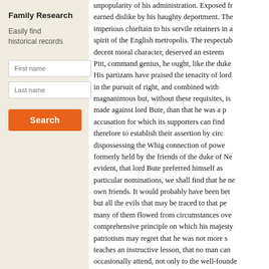Family Research
Easily find historical records
[Figure (other): Search form with First name and Last name text input fields and a Search button]
unpopularity of his administration. Exposed fr... earned dislike by his haughty deportment. The imperious chieftain to his servile retainers in a spirit of the English metropolis. The respectab... decent moral character, deserved an esteem... Pitt, command genius, he ought, like the duke... His partizans have praised the tenacity of lord... in the pursuit of right, and combined with magnanimous but, without these requisites, is made against lord Bute, than that he was a p... accusation for which its supporters can find... therefore to establish their assertion by circ... dispossessing the Whig connection of powe... formerly held by the friends of the duke of Ne... evident, that lord Bute preferred himself as particular nominations, we shall find that he ne... own friends. It would probably have been bet... but all the evils that may be traced to that pe... many of them flowed from circumstances ove... comprehensive principle on which his majesty... patriotism may regret that he was not more s... teaches an instructive lesson, that no man can... occasionally attend, not only to the well-founde...
The earl of Bute spent the most of the rem... Bedfordshire, but not without the suspicion counsels. "The spirit of the Favourite," say... administration; and every set of ministers p... submitted to that influence." The chief employ... literature and science. He was more fond of...